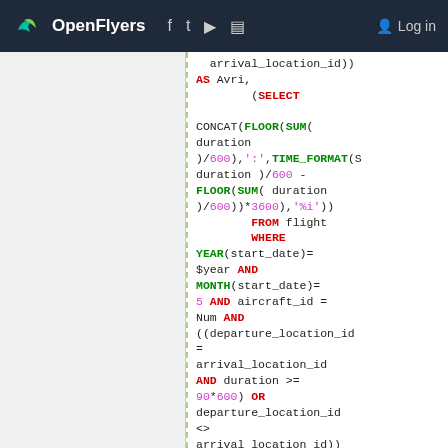OpenFlyers | Log in
SQL code block showing arrival_location_id, AS Avri, SELECT, CONCAT, FLOOR, SUM, duration, /600, TIME_FORMAT, FROM flight, WHERE, YEAR(start_date)=$year AND MONTH(start_date)=5 AND aircraft_id = Num AND ((departure_location_id = arrival_location_id AND duration >= 90*600) OR departure_location_id <> arrival_location_id)) AS Mai